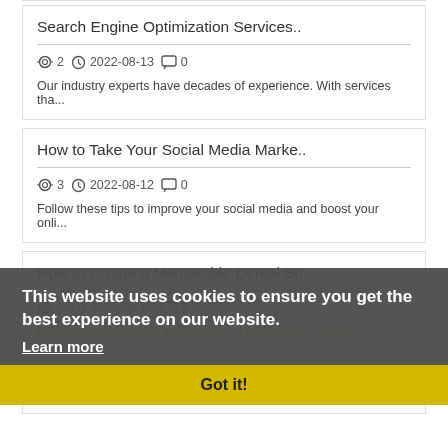Search Engine Optimization Services..
👁 2  🕐 2022-08-13  💬 0
Our industry experts have decades of experience. With services tha...
How to Take Your Social Media Marke..
👁 3  🕐 2022-08-12  💬 0
Follow these tips to improve your social media and boost your onli...
How to Create a Memorable Dental Br..
👁 2  🕐 2022-08-12  💬 0
Branding is more than the logo and a reflection of what you repres...
How to Build an SEO-friendly Websit..
This website uses cookies to ensure you get the best experience on our website.
Learn more
Got it!